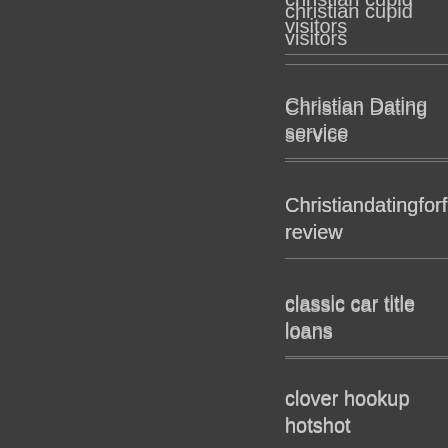christian cupid visitors
Christian Dating service
Christiandatingforfree review
classic car title loans
clover hookup hotshot
clover preise
coffee meets bagel dating
colarspace reviews